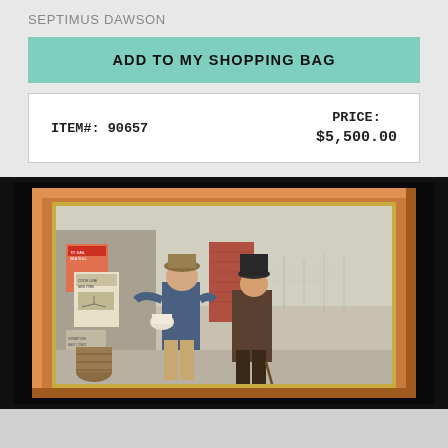SEPTIMUS DAWSON
ADD TO MY SHOPPING BAG
| ITEM#: 90657 | PRICE:
$5,500.00 |
[Figure (photo): Oil painting in a wooden frame showing two men in 19th-century attire standing near a harbor with ships and posters on a wall behind them.]